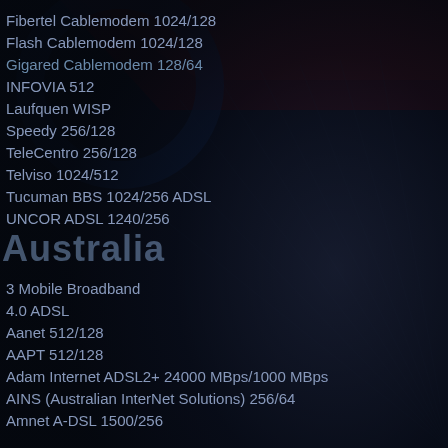Fibertel Cablemodem 1024/128
Flash Cablemodem 1024/128
Gigared Cablemodem 128/64
INFOVIA 512
Laufquen WISP
Speedy 256/128
TeleCentro 256/128
Telviso 1024/512
Tucuman BBS 1024/256 ADSL
UNCOR ADSL 1240/256
Australia
3 Mobile Broadband
4.0 ADSL
Aanet 512/128
AAPT 512/128
Adam Internet ADSL2+ 24000 MBps/1000 MBps
AINS (Australian InterNet Solutions) 256/64
Amnet A-DSL 1500/256